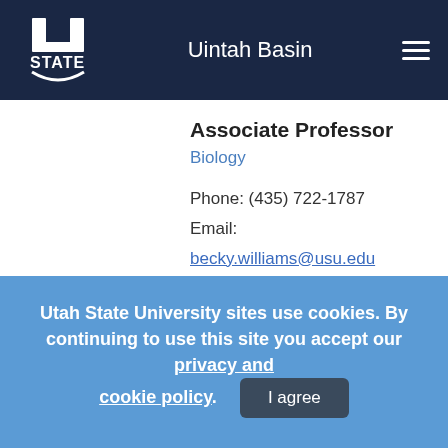Uintah Basin
Associate Professor
Biology
Phone: (435) 722-1787
Email: becky.williams@usu.edu
Office Location: USU Uintah Basin BEERC 221B
Utah State University sites use cookies. By continuing to use this site you accept our privacy and cookie policy.